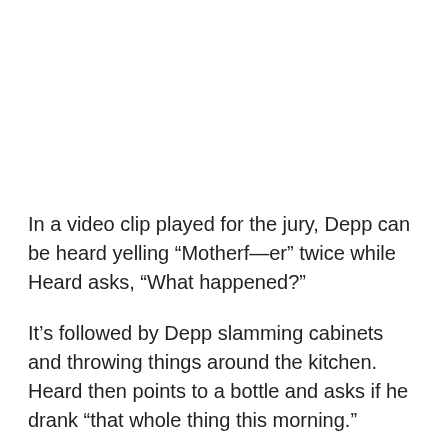In a video clip played for the jury, Depp can be heard yelling “Motherf—er” twice while Heard asks, “What happened?”
It’s followed by Depp slamming cabinets and throwing things around the kitchen. Heard then points to a bottle and asks if he drank “that whole thing this morning.”